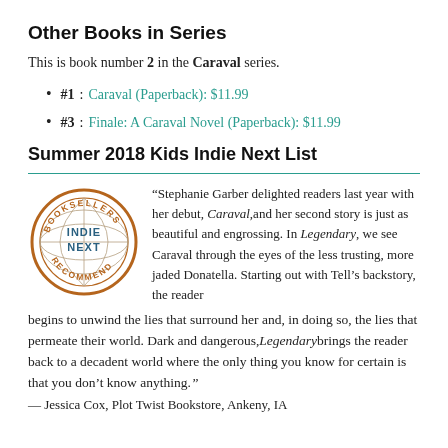Other Books in Series
This is book number 2 in the Caraval series.
#1: Caraval (Paperback): $11.99
#3: Finale: A Caraval Novel (Paperback): $11.99
Summer 2018 Kids Indie Next List
[Figure (logo): Indie Next Booksellers Recommend circular logo with globe design, orange/brown text]
“Stephanie Garber delighted readers last year with her debut, Caraval,and her second story is just as beautiful and engrossing. In Legendary, we see Caraval through the eyes of the less trusting, more jaded Donatella. Starting out with Tell’s backstory, the reader begins to unwind the lies that surround her and, in doing so, the lies that permeate their world. Dark and dangerous,Legendarybring the reader back to a decadent world where the only thing you know for certain is that you don’t know anything. ”
— Jessica Cox, Plot Twist Bookstore, Ankeny, IA